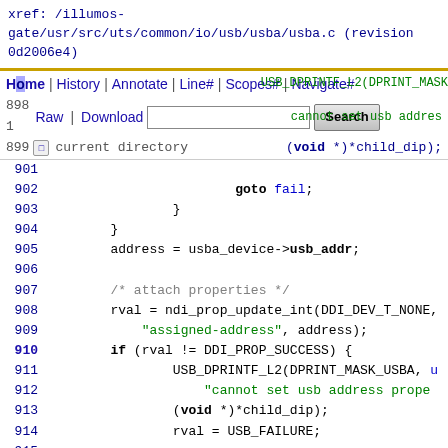xref: /illumos-gate/usr/src/uts/common/io/usb/usba/usba.c (revision 0d2006e4)
[Figure (screenshot): Navigation bar with Home | History | Annotate | Line# | Scopes# | Navigate# | Raw | Download links and a Search input box]
current directory
Code listing lines 898-921 of usba.c
901
902    goto fail;
903    }
904    }
905    address = usba_device->usb_addr;
906
907    /* attach properties */
908    rval = ndi_prop_update_int(DDI_DEV_T_NONE,
909         "assigned-address", address);
910    if (rval != DDI_PROP_SUCCESS) {
911         USB_DPRINTF_L2(DPRINT_MASK_USBA, u
912              "cannot set usb address prope
913         (void *)*child_dip);
914         rval = USB_FAILURE;
915
916         goto fail;
917    }
918
919    /*
920     * store the usba_device point in the dip
921     */